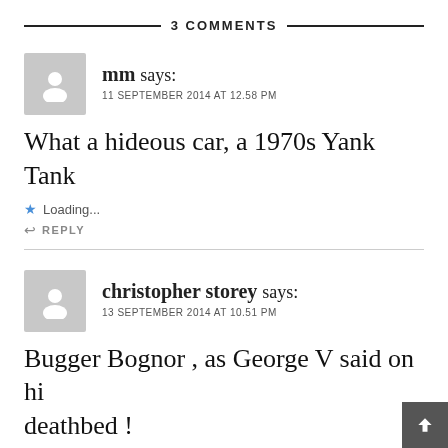3 COMMENTS
mm says:
11 SEPTEMBER 2014 AT 12.58 PM
What a hideous car, a 1970s Yank Tank
Loading...
REPLY
christopher storey says:
13 SEPTEMBER 2014 AT 10.51 PM
Bugger Bognor , as George V said on his deathbed !